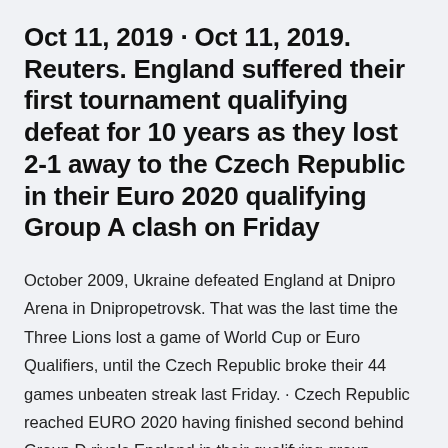Oct 11, 2019 · Oct 11, 2019. Reuters. England suffered their first tournament qualifying defeat for 10 years as they lost 2-1 away to the Czech Republic in their Euro 2020 qualifying Group A clash on Friday
October 2009, Ukraine defeated England at Dnipro Arena in Dnipropetrovsk. That was the last time the Three Lions lost a game of World Cup or Euro Qualifiers, until the Czech Republic broke their 44 games unbeaten streak last Friday. · Czech Republic reached EURO 2020 having finished second behind Group D rivals England in their qualifying group, although Jaroslav Silhavy's men recorded a 2-1 victory over the Three